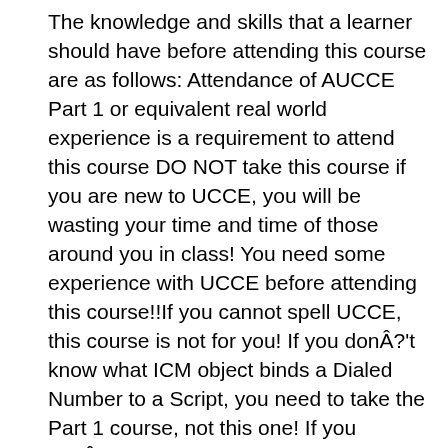The knowledge and skills that a learner should have before attending this course are as follows: Attendance of AUCCE Part 1 or equivalent real world experience is a requirement to attend this course DO NOT take this course if you are new to UCCE, you will be wasting your time and time of those around you in class! You need some experience with UCCE before attending this course!!If you cannot spell UCCE, this course is not for you! If you donÂ?'t know what ICM object binds a Dialed Number to a Script, you need to take the Part 1 course, not this one! If you donÂ?'t know the 2 main uses for Call Types, you should not take this course!! Obviously, this means you need some prerequisite knowledge before attending this course. Working knowledge of Unified